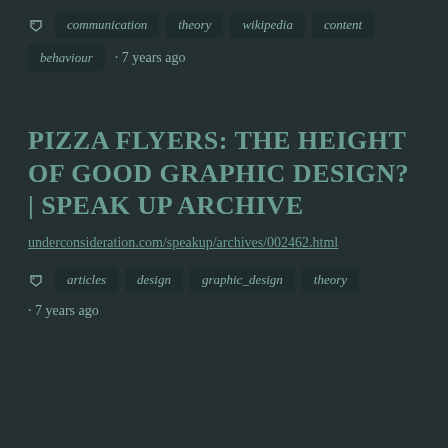communication  theory  wikipedia  content
behaviour  ·  7 years ago
PIZZA FLYERS: THE HEIGHT OF GOOD GRAPHIC DESIGN? | SPEAK UP ARCHIVE
underconsideration.com/speakup/archives/002462.html
articles  design  graphic_design  theory
·  7 years ago